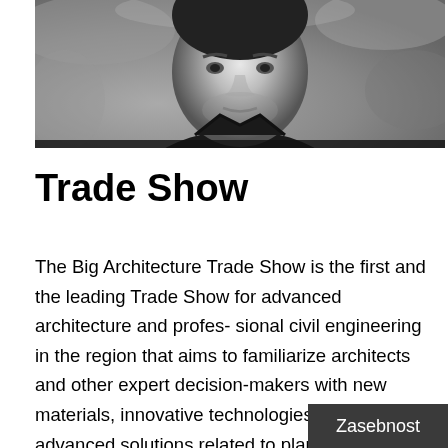[Figure (photo): Black and white portrait photo of a man in a dark jacket, looking toward the camera, with a rocky or outdoor background.]
Trade Show
The Big Architecture Trade Show is the first and the leading Trade Show for advanced architecture and profes- sional civil engineering in the region that aims to familiarize architects and other expert decision-makers with new materials, innovative technologies and advanced solutions related to planning and implementation of high-quality architecture and interior design.
Zasebnost